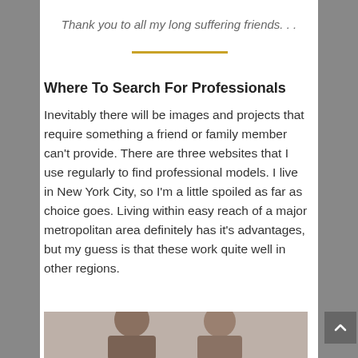Thank you to all my long suffering friends. . .
Where To Search For Professionals
Inevitably there will be images and projects that require something a friend or family member can't provide. There are three websites that I use regularly to find professional models. I live in New York City, so I'm a little spoiled as far as choice goes. Living within easy reach of a major metropolitan area definitely has it's advantages, but my guess is that these work quite well in other regions.
[Figure (photo): Two women standing side by side, partial view showing heads and shoulders]